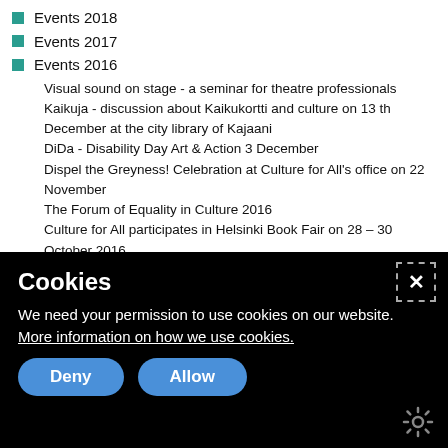Events 2018
Events 2017
Events 2016
Visual sound on stage - a seminar for theatre professionals
Kaikuja - discussion about Kaikukortti and culture on 13 th December at the city library of Kajaani
DiDa - Disability Day Art & Action 3 December
Dispel the Greyness! Celebration at Culture for All's office on 22 November
The Forum of Equality in Culture 2016
Culture for All participates in Helsinki Book Fair on 28 – 30 October 2016
Seminar: Tietoisesti vaiennetut 17.5.2016
Literature without borders 18.3.2016
News 2022
News archive
Cookies
We need your permission to use cookies on our website. More information on how we use cookies.